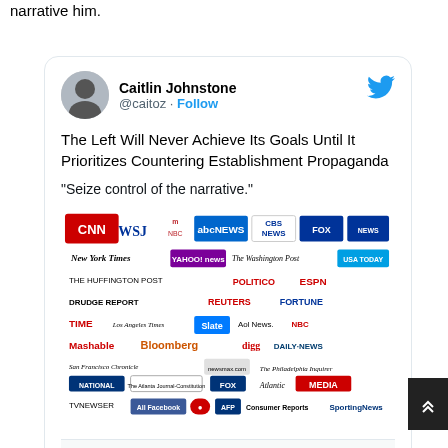narrative him.
[Figure (screenshot): Embedded tweet from @caitoz (Caitlin Johnstone) with Twitter bird logo, avatar, display name, handle, Follow button, tweet text 'The Left Will Never Achieve Its Goals Until It Prioritizes Countering Establishment Propaganda', quote '"Seize control of the narrative."', collage image of media logos (CNN, WSJ, NBC, ABC News, CBS News, Fox News, NY Times, Yahoo News, Washington Post, USA Today, Huffington Post, Politico, ESPN, Drudge Report, Reuters, Fortune, TIME, LA Times, Slate, Aol News, NBC Sports, Mashable, Bloomberg, digg, Daily News, SF Chronicle, NewsMax, Philadelphia Inquirer, National Journal, Atlanta Journal-Constitution, Fox Sports, Atlantic, MEDIA, TVNewser, All Facebook, AFP, Consumer Reports, Sporting News), link preview for caitlinjohnstone.substack.com, and timestamp 3:21 AM · Mar 6, 2021]